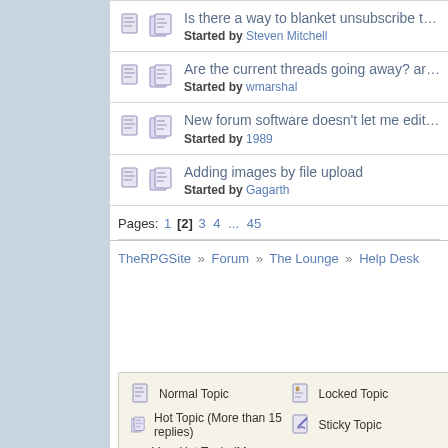Is there a way to blanket unsubscribe to topics? Started by Steven Mitchell
Are the current threads going away? archived? Or exist in... Started by wmarshal
New forum software doesn't let me edit posts Started by 1989
Adding images by file upload Started by Gagarth
Pages: 1 [2] 3 4 ... 45
TheRPGSite » Forum » The Lounge » Help Desk
| Normal Topic | Locked Topic |
| Hot Topic (More than 15 replies) | Sticky Topic |
| Very Hot Topic (More than 25 replies) | Poll |